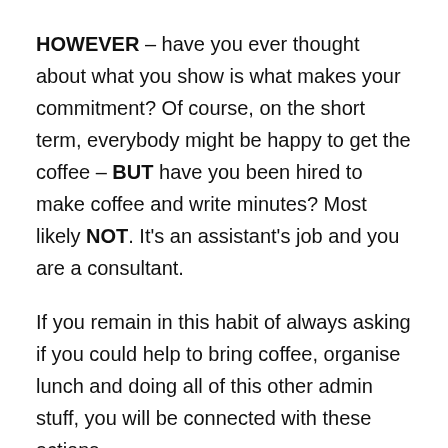HOWEVER – have you ever thought about what you show is what makes your commitment? Of course, on the short term, everybody might be happy to get the coffee – BUT have you been hired to make coffee and write minutes? Most likely NOT. It's an assistant's job and you are a consultant.
If you remain in this habit of always asking if you could help to bring coffee, organise lunch and doing all of this other admin stuff, you will be connected with these actions.
Now you might say "I want to do it and it isn't really a problem" – well have you ever seen your most successful colleagues doing it? And have you ever thought that someone would dare asking them to